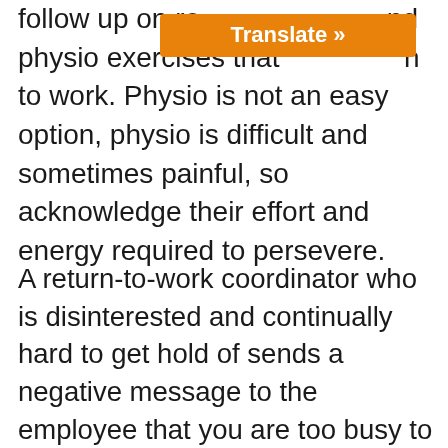follow up on re[...] and physio exercises that [...] n to work. Physio is not an easy option, physio is difficult and sometimes painful, so acknowledge their effort and energy required to persevere.
A return-to-work coordinator who is disinterested and continually hard to get hold of sends a negative message to the employee that you are too busy to care. Layer upon that the use of negative language and closed questioning, can put the employee on the defense and have a negative impact on the trajectory of their recovery and return to work timeline.  What